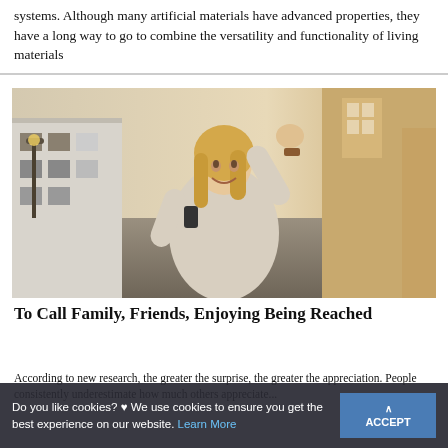systems. Although many artificial materials have advanced properties, they have a long way to go to combine the versatility and functionality of living materials
[Figure (photo): A young blonde woman in a cream cable-knit sweater talking on a mobile phone outdoors on a cobblestone street, raising her fist in celebration. Buildings with white facades visible in background with warm golden-hour light.]
To Call Family, Friends, Enjoying Being Reached
According to new research, the greater the surprise, the greater the appreciation. People consistently underestimate how much others appreciate...